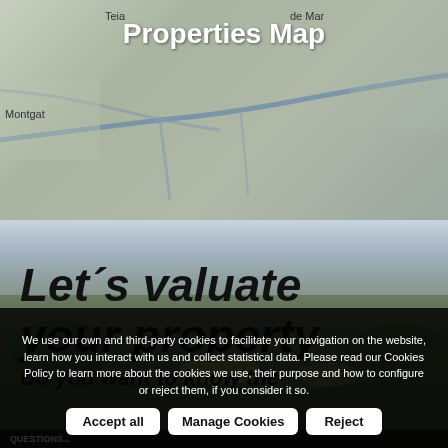[Figure (map): Street map showing area near Teia, Montgat, with roads and terrain. Overlaid with 'Properties Map' title in white text.]
Properties Map
[Figure (photo): Aerial/landscape photograph of green hillside with trees and fields, showing a scenic rural area. Overlaid with large italic bold text 'Let´s valuate your property' and partial text 'Do you want to know the'.]
Let´s valuate your property
Do you want to know the
We use our own and third-party cookies to facilitate your navigation on the website, learn how you interact with us and collect statistical data. Please read our Cookies Policy to learn more about the cookies we use, their purpose and how to configure or reject them, if you consider it so.
Accept all
Manage Cookies
Reject